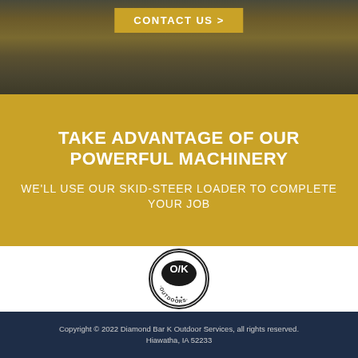[Figure (photo): Aerial/ground-level photo of graded dirt/soil area on green grass lawn, with skid-steer equipment visible at top right corner]
CONTACT US >
TAKE ADVANTAGE OF OUR POWERFUL MACHINERY
WE'LL USE OUR SKID-STEER LOADER TO COMPLETE YOUR JOB
[Figure (logo): Diamond Bar K Outdoors circular logo with trees and letters O/K in center, text reading OUTDOORS around bottom]
Copyright © 2022 Diamond Bar K Outdoor Services, all rights reserved. Hiawatha, IA 52233